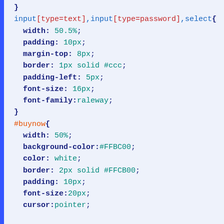}
input[type=text],input[type=password],select{
  width: 50.5%;
  padding: 10px;
  margin-top: 8px;
  border: 1px solid #ccc;
  padding-left: 5px;
  font-size: 16px;
  font-family:raleway;
}
#buynow{
  width: 50%;
  background-color:#FFBC00;
  color: white;
  border: 2px solid #FFCB00;
  padding: 10px;
  font-size:20px;
  cursor:pointer;